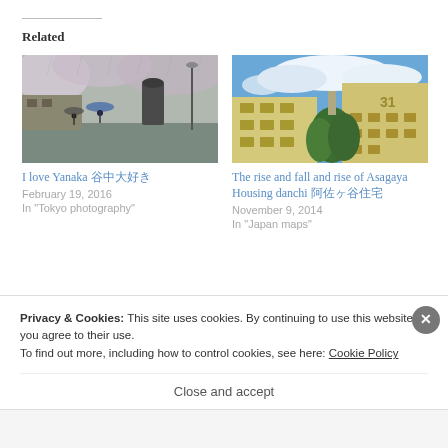Related
[Figure (photo): Rainy street scene with cherry blossoms and people with umbrellas, Yanaka, Tokyo]
I love Yanaka 谷中大好き
February 19, 2016
In "Tokyo photography"
[Figure (photo): Looking up at yellow apartment buildings (danchi) against blue sky with clouds, Asagaya Housing]
The rise and fall and rise of Asagaya Housing danchi 阿佐ヶ谷住宅
November 9, 2014
In "Japan maps"
Privacy & Cookies: This site uses cookies. By continuing to use this website, you agree to their use.
To find out more, including how to control cookies, see here: Cookie Policy
Close and accept